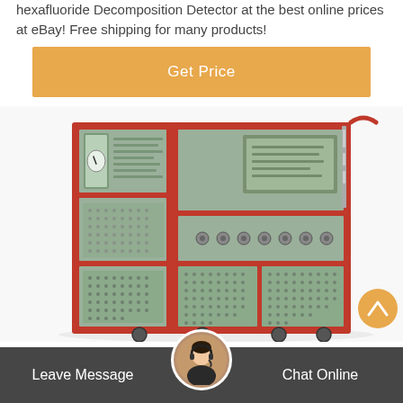hexafluoride Decomposition Detector at the best online prices at eBay! Free shipping for many products!
Get Price
[Figure (photo): Industrial SF6 hexafluoride decomposition detector device — a large red-framed equipment unit with multiple gray panels, ventilation grilles, gauges, a display screen, and control knobs, mounted on wheels.]
Leave Message   Chat Online